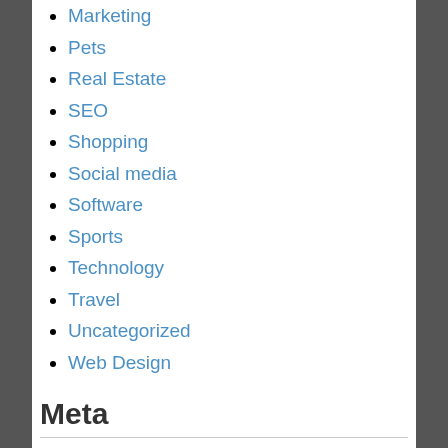Marketing
Pets
Real Estate
SEO
Shopping
Social media
Software
Sports
Technology
Travel
Uncategorized
Web Design
Meta
Log in
Entries feed
Comments feed
WordPress.org